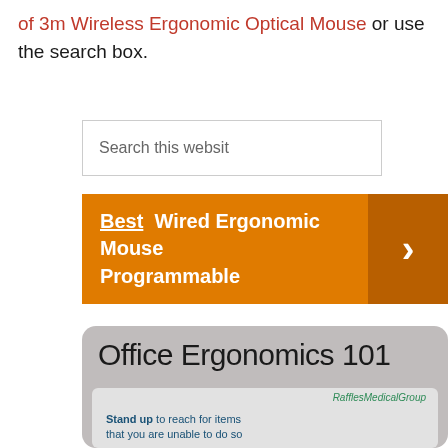of 3m Wireless Ergonomic Optical Mouse or use the search box.
[Figure (screenshot): Search input box with placeholder text 'Search this website']
[Figure (infographic): Orange banner with text 'Best Wired Ergonomic Mouse Programmable' and a right-facing chevron arrow on a darker orange background]
[Figure (infographic): Card with title 'Office Ergonomics 101', RafflesMedicalGroup logo, and an illustration of a person with text 'Stand up to reach for items that you are unable to do so']